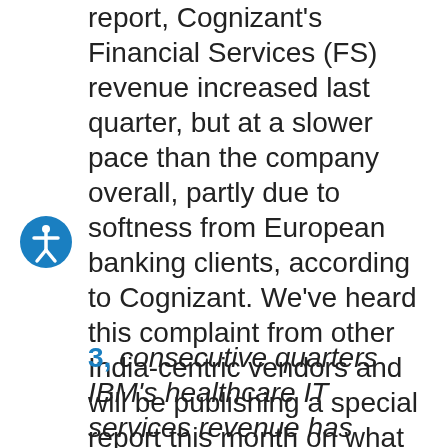report, Cognizant's Financial Services (FS) revenue increased last quarter, but at a slower pace than the company overall, partly due to softness from European banking clients, according to Cognizant. We've heard this complaint from other India-centric vendors and will be publishing a special report this month on what those companies have been doing to offset those pressures. To keep some context, FS remains Cognizant's largest vertical, at 34.3%, but this trend bears watching.
3, consecutive quarters IBM's healthcare IT services revenue has declined: 2019 was unquestionably an off year for IBM's healthcare IT services (HITS), but our most recent analysis indicates the company will